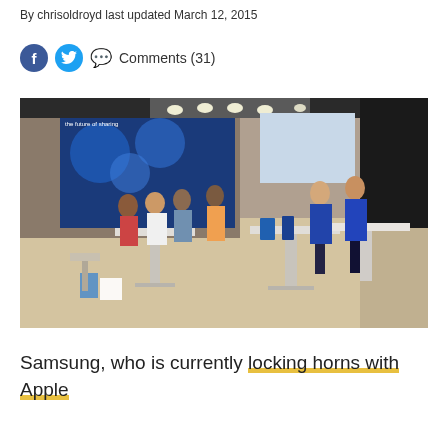By chrisoldroyd last updated March 12, 2015
Comments (31)
[Figure (photo): Interior of a Samsung retail store showing customers browsing devices on white display tables, with Samsung staff in blue shirts assisting customers. Large digital display wall visible in background.]
Samsung, who is currently locking horns with Apple